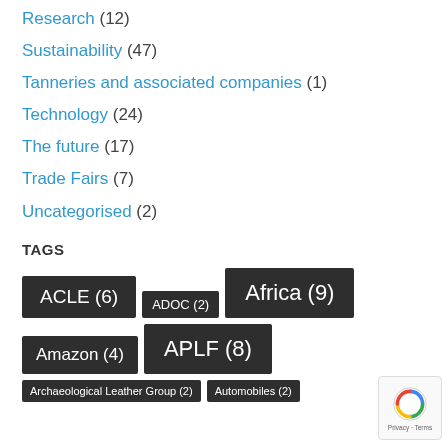Research (12)
Sustainability (47)
Tanneries and associated companies (1)
Technology (24)
The future (17)
Trade Fairs (7)
Uncategorised (2)
TAGS
ACLE (6)
ADOC (2)
Africa (9)
Amazon (4)
APLF (8)
Archaeological Leather Group (2)
Automobiles (2)